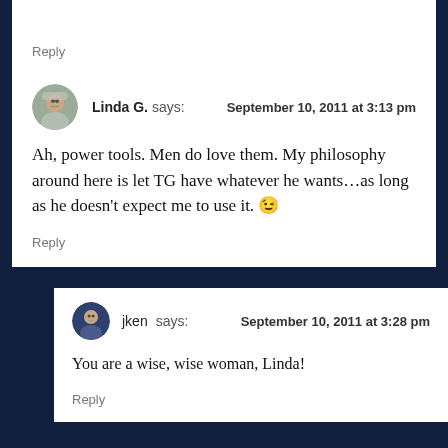Reply
Linda G. says: September 10, 2011 at 3:13 pm
Ah, power tools. Men do love them. My philosophy around here is let TG have whatever he wants...as long as he doesn’t expect me to use it. 😉
Reply
jken says: September 10, 2011 at 3:28 pm
You are a wise, wise woman, Linda!
Reply